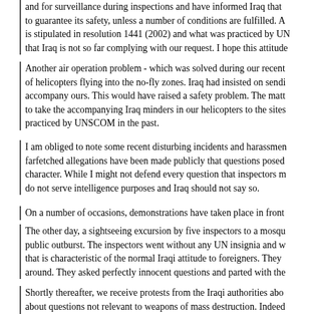and for surveillance during inspections and have informed Iraq that to guarantee its safety, unless a number of conditions are fulfilled. A is stipulated in resolution 1441 (2002) and what was practiced by UN that Iraq is not so far complying with our request. I hope this attitude
Another air operation problem - which was solved during our recent of helicopters flying into the no-fly zones. Iraq had insisted on sendi accompany ours. This would have raised a safety problem. The matt to take the accompanying Iraq minders in our helicopters to the sites practiced by UNSCOM in the past.
I am obliged to note some recent disturbing incidents and harassmen farfetched allegations have been made publicly that questions posed character. While I might not defend every question that inspectors m do not serve intelligence purposes and Iraq should not say so.
On a number of occasions, demonstrations have taken place in front
The other day, a sightseeing excursion by five inspectors to a mosqu public outburst. The inspectors went without any UN insignia and w that is characteristic of the normal Iraqi attitude to foreigners. They around. They asked perfectly innocent questions and parted with the
Shortly thereafter, we receive protests from the Iraqi authorities abo about questions not relevant to weapons of mass destruction. Indeed outbursts of this kind are unlikely to occur in Iraq without initiative